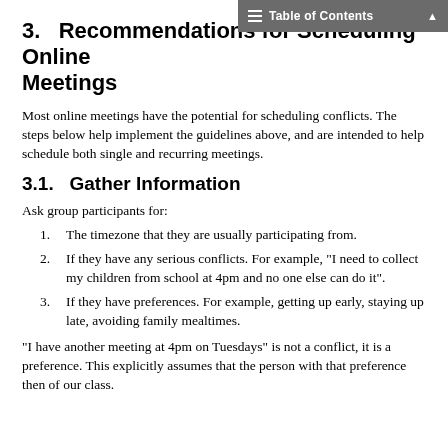3.   Recommendations for Scheduling Online Meetings
Table of Contents
Most online meetings have the potential for scheduling conflicts. The steps below help implement the guidelines above, and are intended to help schedule both single and recurring meetings.
3.1.   Gather Information
Ask group participants for:
The timezone that they are usually participating from.
If they have any serious conflicts. For example, "I need to collect my children from school at 4pm and no one else can do it".
If they have preferences. For example, getting up early, staying up late, avoiding family mealtimes.
"I have another meeting at 4pm on Tuesdays" is not a conflict, it is a preference. This explicitly assumes that the person with that preference then of our class.